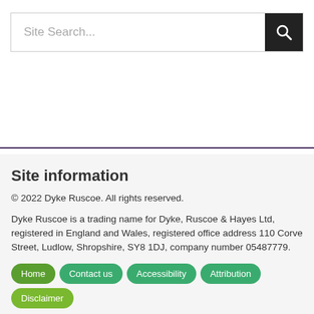[Figure (screenshot): Search bar with text input placeholder 'Site Search...' and a dark search button with magnifying glass icon]
Site information
© 2022 Dyke Ruscoe. All rights reserved.
Dyke Ruscoe is a trading name for Dyke, Ruscoe & Hayes Ltd, registered in England and Wales, registered office address 110 Corve Street, Ludlow, Shropshire, SY8 1DJ, company number 05487779.
Home
Contact us
Accessibility
Attribution
Disclaimer